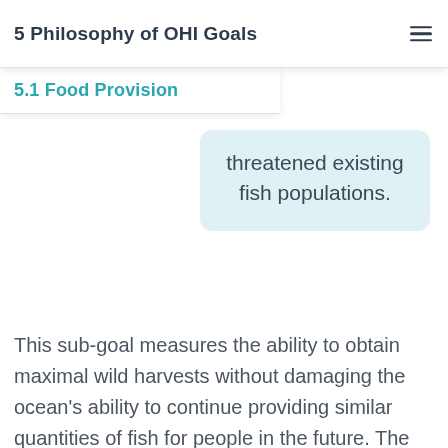5 Philosophy of OHI Goals
5.1 Food Provision
threatened existing fish populations.
This sub-goal measures the ability to obtain maximal wild harvests without damaging the ocean's ability to continue providing similar quantities of fish for people in the future. The optimal levels are described by Maximum Sustainable Yield (MSY). Higher scores reflect fishing practices with sustainably high yields that avoid excessively high exploitation, or over-fishing, and do not